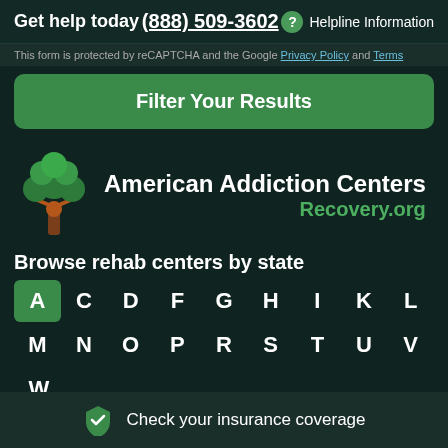Get help today   (888) 509-3602   ? Helpline Information
This form is protected by reCAPTCHA and the Google Privacy Policy and Terms
Filter Your Results
[Figure (logo): American Addiction Centers Recovery.org logo with tree icon]
Browse rehab centers by state
A C D F G H I K L M N O P R S T U V W
Alabama
Check your insurance coverage